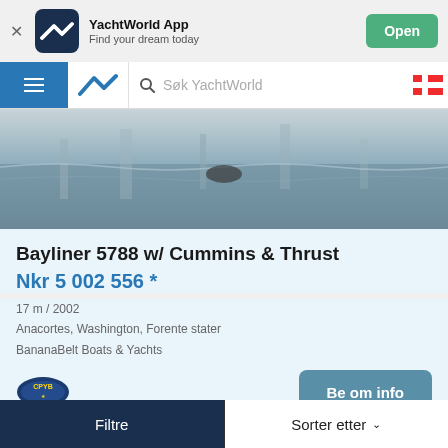[Figure (screenshot): YachtWorld App banner with logo, 'Find your dream today' tagline and Open button]
YachtWorld App
Find your dream today
[Figure (photo): Water reflection photo showing boat hull at waterline]
Bayliner 5788 w/ Cummins & Thrust
Nkr 5 002 556 *
17 m / 2002
Anacortes, Washington, Forente stater
BananaBelt Boats & Yachts
Be om info
Filtre	Sorter etter